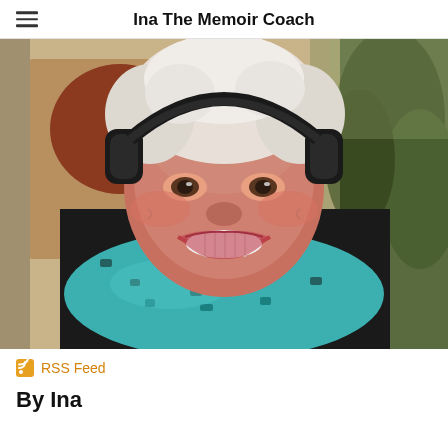Ina The Memoir Coach
[Figure (photo): A smiling older woman with short white hair wearing black over-ear headphones and a teal/blue patterned scarf, photographed indoors in front of a warm-toned background with artwork on the wall and greenery visible.]
RSS Feed
By Ina